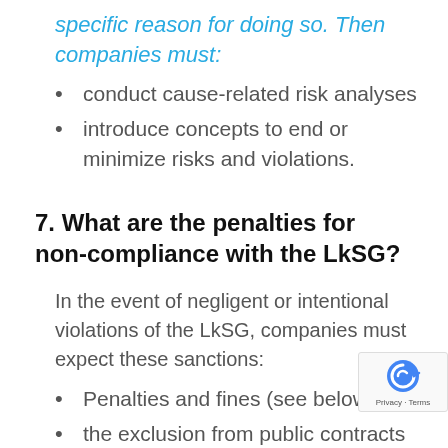specific reason for doing so. Then companies must:
conduct cause-related risk analyses
introduce concepts to end or minimize risks and violations.
7. What are the penalties for non-compliance with the LkSG?
In the event of negligent or intentional violations of the LkSG, companies must expect these sanctions:
Penalties and fines (see below)
the exclusion from public contracts
Additionally, damage violations...